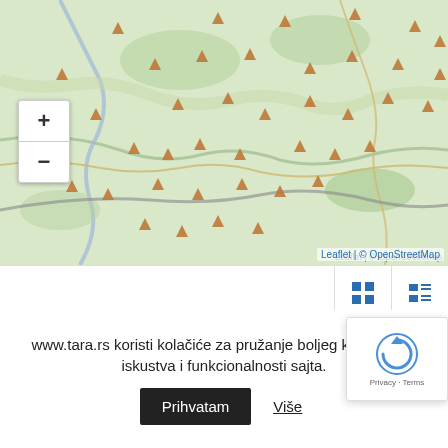[Figure (map): Interactive map showing the Tara Mountains region in Serbia with orange triangle markers indicating mountain cabin locations, displayed using Leaflet and OpenStreetMap tiles. Zoom in (+) and zoom out (-) controls on the left.]
[Figure (screenshot): Toolbar with grid view and list view toggle buttons, and a Sort By dropdown set to 'Date New to Old'. A reCAPTCHA badge is overlaid on the right.]
Wooden log cabins on the Tara Mountains.
www.tara.rs koristi kolačiće za pružanje boljeg korisničkog iskustva i funkcionalnosti sajta.
Prihvatam
Više